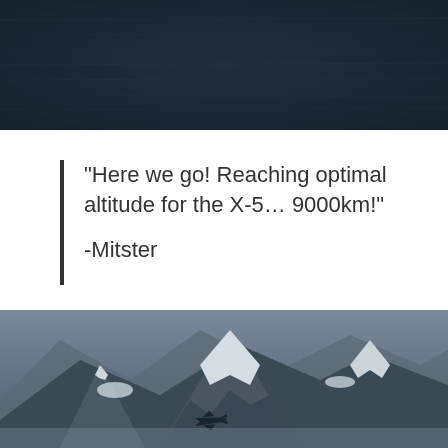[Figure (photo): Aerial view of dark ocean/sea surface shot from high altitude, dark blue-grey tones]
“Here we go! Reaching optimal altitude for the X-5… 9000km!”

-Mitster
[Figure (photo): Military jet aircraft flying low over snow-capped mountain peaks, desaturated bluish tones, dramatic rocky mountains]